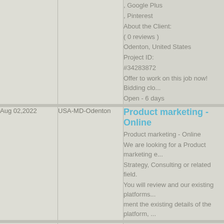| Date | Location | Job Details |
| --- | --- | --- |
|  |  | , Google Plus
, Pinterest
About the Client:
( 0 reviews )
Odenton, United States
Project ID:
#34283872
Offer to work on this job now! Bidding clo...
Open - 6 days |
| Aug 02,2022 | USA-MD-Odenton | Product marketing - Online
Product marketing - Online
We are looking for a Product marketing e...
Strategy, Consulting or related field.
You will review and our existing platforms...
ment the existing details of the platform, ... |
| Aug 04,2022 | USA-MD-Odenton | Social Media Strategist for Health...
Social Media Strategist for Health & Well...
We are looking for someone to help push...
book and Instagram.
Skills: |